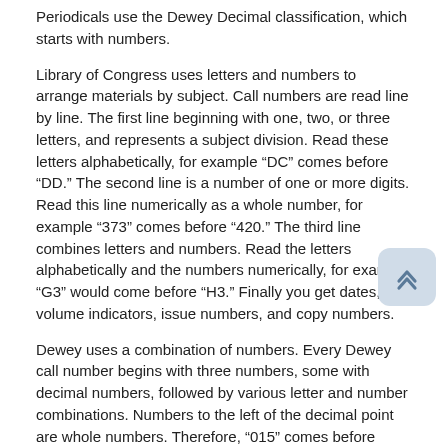Periodicals use the Dewey Decimal classification, which starts with numbers.
Library of Congress uses letters and numbers to arrange materials by subject. Call numbers are read line by line. The first line beginning with one, two, or three letters, and represents a subject division. Read these letters alphabetically, for example “DC” comes before “DD.” The second line is a number of one or more digits. Read this line numerically as a whole number, for example “373” comes before “420.” The third line combines letters and numbers. Read the letters alphabetically and the numbers numerically, for example “G3” would come before “H3.” Finally you get dates, volume indicators, issue numbers, and copy numbers.
Dewey uses a combination of numbers. Every Dewey call number begins with three numbers, some with decimal numbers, followed by various letter and number combinations. Numbers to the left of the decimal point are whole numbers. Therefore, “015” comes before “150.” Read numbers to the right of the decimal point like decimals, therefore “949.61” comes before “949.65.”